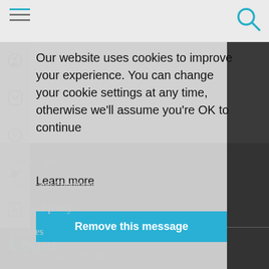[Figure (screenshot): Website navigation bar with hamburger menu icon (blue top line, grey lines) on left and search icon on right, on a light grey background]
Our website uses cookies to improve your experience. You can change your cookie settings at any time, otherwise we'll assume you're OK to continue
Learn more
Remove this message
Privacy policy
Terms and Conditions
Editorial policy
Cookies
RSS - feed subscriptions